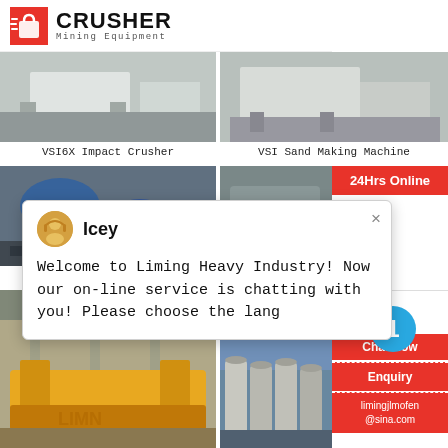[Figure (logo): Crusher Mining Equipment logo with red shopping bag icon]
[Figure (photo): VSI6X Impact Crusher machine photo]
VSI6X Impact Crusher
[Figure (photo): VSI Sand Making Machine photo]
VSI Sand Making Machine
[Figure (photo): Ball Mill machine photo]
Ball Mill
[Figure (photo): Magnetic separator machine photo]
Magnetic
[Figure (photo): Yellow flotation machine in factory]
[Figure (photo): Industrial spiral classifiers/silos]
[Figure (screenshot): Chat popup: Icey avatar, Welcome to Liming Heavy Industry message, 24Hrs Online badge, Need & suggestions box, Chat Now button, Enquiry button, limingjlmofen@sina.com email, circle 1 notification]
24Hrs Online
Welcome to Liming Heavy Industry! Now our on-line service is chatting with you! Please choose the lang
Chat Now
Enquiry
limingjlmofen@sina.com